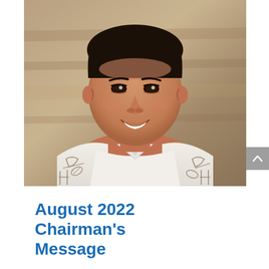[Figure (photo): Portrait photo of a smiling Asian man wearing a white Hawaiian aloha shirt with tan/brown traditional Hawaiian motifs including paddles and leaves. Background is a blurred warm tan/brown wood-paneled wall. The man appears to be in his 40s.]
August 2022 Chairman's Message